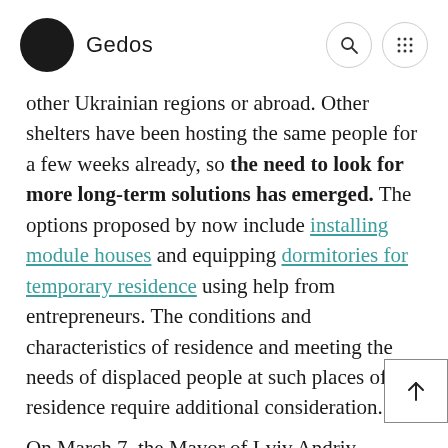Gedos
other Ukrainian regions or abroad. Other shelters have been hosting the same people for a few weeks already, so the need to look for more long-term solutions has emerged. The options proposed by now include installing module houses and equipping dormitories for temporary residence using help from entrepreneurs. The conditions and characteristics of residence and meeting the needs of displaced people at such places of residence require additional consideration.
On March 7, the Mayor of Lviv Andriy Sadowi